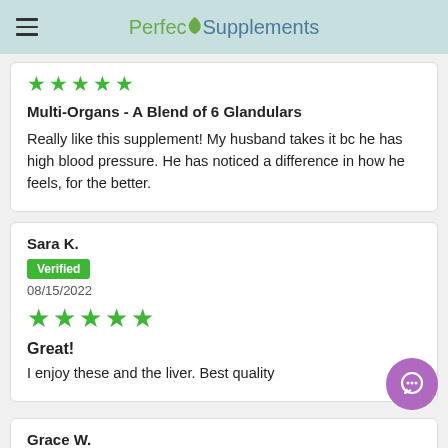Perfect Supplements
★★★★★
Multi-Organs - A Blend of 6 Glandulars
Really like this supplement! My husband takes it bc he has high blood pressure. He has noticed a difference in how he feels, for the better.
Sara K.
Verified
08/15/2022
★★★★★
Great!
I enjoy these and the liver. Best quality
Grace W.